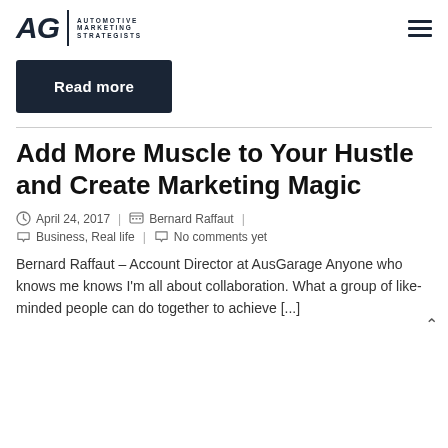[Figure (logo): AG Automotive Marketing Strategists logo with italic bold AG text and vertical divider]
Read more
Add More Muscle to Your Hustle and Create Marketing Magic
April 24, 2017  |  Bernard Raffaut
Business, Real life  |  No comments yet
Bernard Raffaut – Account Director at AusGarage Anyone who knows me knows I'm all about collaboration. What a group of like-minded people can do together to achieve [...]